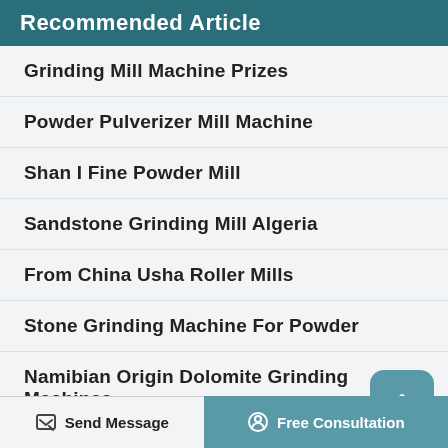Recommended Article
Grinding Mill Machine Prizes
Powder Pulverizer Mill Machine
Shan I Fine Powder Mill
Sandstone Grinding Mill Algeria
From China Usha Roller Mills
Stone Grinding Machine For Powder
Namibian Origin Dolomite Grinding Machines
Sprout Waldron Koppers Roller Mill
Send Message | Free Consultation